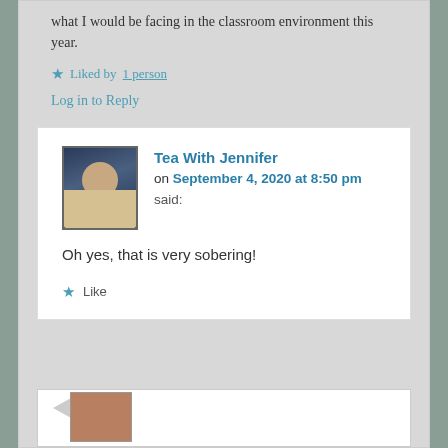what I would be facing in the classroom environment this year.
Liked by 1 person
Log in to Reply
Tea With Jennifer on September 4, 2020 at 8:50 pm said:
Oh yes, that is very sobering!
Like
[Figure (photo): Avatar photo of Tea With Jennifer commenter - person wearing blue hat]